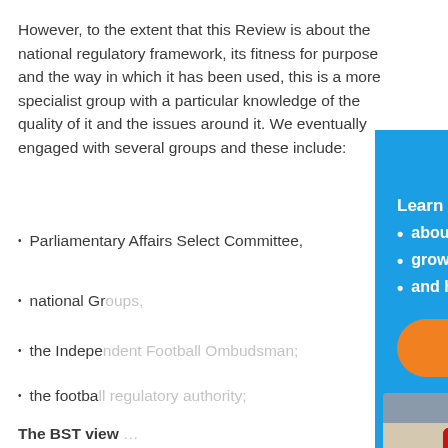However, to the extent that this Review is about the national regulatory framework, its fitness for purpose and the way in which it has been used, this is a more specialist group with a particular knowledge of the quality of it and the issues around it. We eventually engaged with several groups and these include:
Parliamentary Affairs Select Committee,
national Groups,
the Independent Football Ombudsman;
the football regulatory authority;
The BST view
[Figure (infographic): Blue popup overlay with close X button, 'Learn more:' heading, bullet list ('about our work in the community', 'growing the fanbases', 'and how you can support us.'), orange 'Learn more' button, and a photo of schoolchildren in orange shirts in front of a red double-decker bus.]